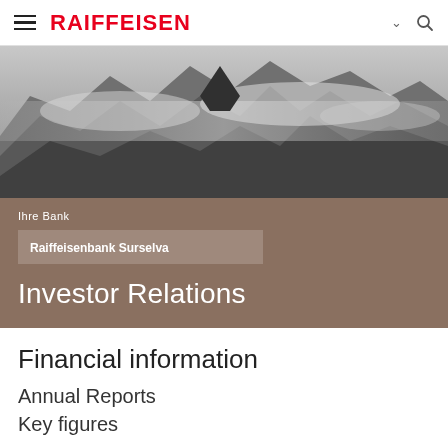[Figure (logo): Raiffeisen bank navigation bar with hamburger menu icon on left, RAIFFEISEN logo in red, and chevron plus search icon on right]
[Figure (photo): Black and white mountain landscape photograph showing alpine peaks with clouds and mist]
Ihre Bank
Raiffeisenbank Surselva
Investor Relations
Financial information
Annual Reports
Key figures